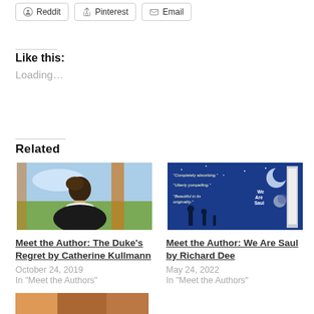Reddit
Pinterest
Email
Like this:
Loading...
Related
[Figure (photo): Painting of a young man in profile view against a landscape background]
Meet the Author: The Duke's Regret by Catherine Kullmann
October 24, 2019
In "Meet the Authors"
[Figure (photo): Book cover with blue night sky, silhouettes of people, moon, and text: 'Completely absorbing.' 'Utterly compelling.' 'Beautiful in its originality.' We Are Saul]
Meet the Author: We Are Saul by Richard Dee
May 24, 2022
In "Meet the Authors"
[Figure (photo): Partially visible image at the bottom of the page]